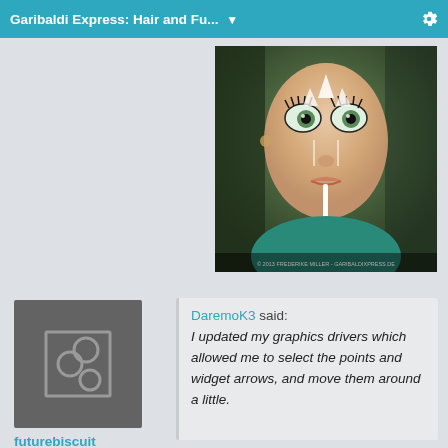Garibaldi Express: Hair and Fu... ▼
[Figure (photo): Close-up photo of a stylized/CGI woman with face paint, large eyes, and a straw in her mouth. Text watermark at bottom reads: © 2013 FREDERIKE MILLER - GARIBALDIXPRESS.DE]
[Figure (illustration): Forum user avatar placeholder: dark grey square with three overlapping grey circles]
futurebiscuit
Posts: 0
January 2013
DaremoK3 said: I updated my graphics drivers which allowed me to select the points and widget arrows, and move them around a little.